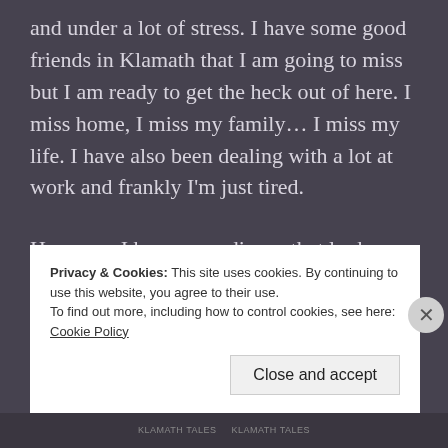and under a lot of stress. I have some good friends in Klamath that I am going to miss but I am ready to get the heck out of here. I miss home, I miss my family... I miss my life. I have also been dealing with a lot at work and frankly I'm just tired.
However, I have an audience that looks forward to my posts and I have worked hard to build up my fan base, so blowing it off isn't good either... even if I am tired. So I apologize. It would help if you guys would get more involved. Give me subjects to write about. I run out of
Privacy & Cookies: This site uses cookies. By continuing to use this website, you agree to their use.
To find out more, including how to control cookies, see here: Cookie Policy
Close and accept